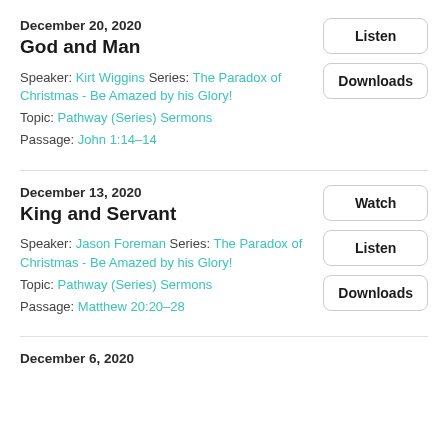December 20, 2020
God and Man
Speaker: Kirt Wiggins Series: The Paradox of Christmas - Be Amazed by his Glory!
Topic: Pathway (Series) Sermons
Passage: John 1:14–14
Listen
Downloads
December 13, 2020
King and Servant
Speaker: Jason Foreman Series: The Paradox of Christmas - Be Amazed by his Glory!
Topic: Pathway (Series) Sermons
Passage: Matthew 20:20–28
Watch
Listen
Downloads
December 6, 2020